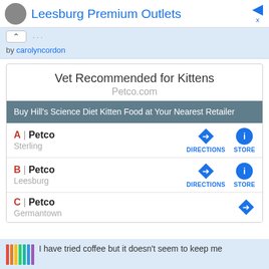Leesburg Premium Outlets
by carolyncordon
Vet Recommended for Kittens
Petco.com
Buy Hill's Science Diet Kitten Food at Your Nearest Retailer
A | Petco
Sterling
DIRECTIONS  STORE
B | Petco
Leesburg
DIRECTIONS  STORE
C | Petco
Germantown
I have tried coffee but it doesn't seem to keep me